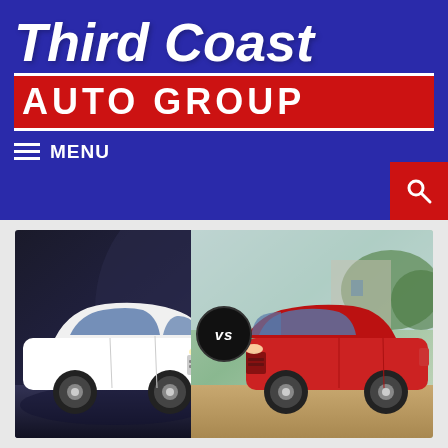Third Coast AUTO GROUP
MENU
[Figure (illustration): Side-by-side comparison photo of a white Nissan Rogue (left) versus a red Hyundai Santa Fe (right) with a 'VS' badge in the center]